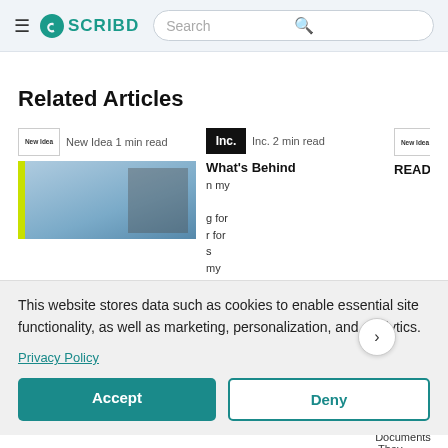SCRIBD Search
Related Articles
[Figure (screenshot): Article cards: New Idea 1 min read, Inc. 2 min read, New Idea 1 min read, HELLO! logo — with article headlines What's Behind, READER Q&A, You Diffe...]
This website stores data such as cookies to enable essential site functionality, as well as marketing, personalization, and analytics.
Privacy Policy
Accept
Deny